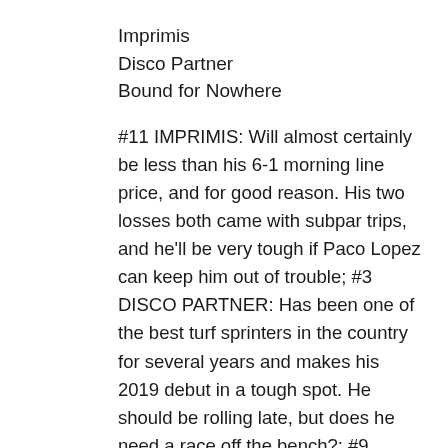Imprimis
Disco Partner
Bound for Nowhere
#11 IMPRIMIS: Will almost certainly be less than his 6-1 morning line price, and for good reason. His two losses both came with subpar trips, and he'll be very tough if Paco Lopez can keep him out of trouble; #3 DISCO PARTNER: Has been one of the best turf sprinters in the country for several years and makes his 2019 debut in a tough spot. He should be rolling late, but does he need a race off the bench?; #9 BOUND FOR NOWHERE: Hasn't been seen since misfiring in the Shadwell Turf Mile, but that was far too long for him. He's a sprinter